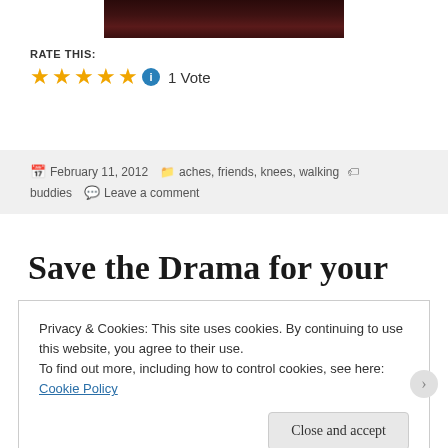[Figure (photo): Dark reddish-brown textured background, partial image of a face or object cut off at top of page]
RATE THIS:
★★★★★ ⓘ 1 Vote
February 11, 2012   aches, friends, knees, walking buddies   Leave a comment
Save the Drama for your
Privacy & Cookies: This site uses cookies. By continuing to use this website, you agree to their use.
To find out more, including how to control cookies, see here: Cookie Policy
Close and accept